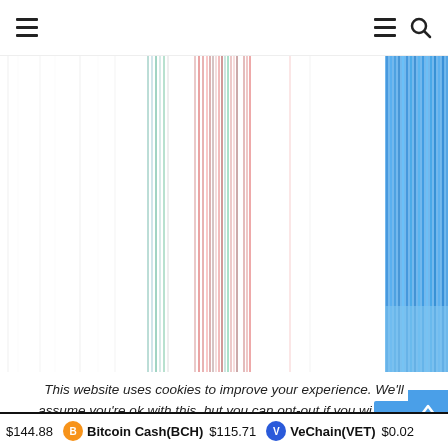Navigation header with hamburger menu and search icon
[Figure (other): Financial chart showing vertical colored lines (candlestick or time-series data) on white background. Lines are grouped in clusters: sparse thin lines on left side, denser green and red lines in center, and a large cluster of blue lines on far right edge. Represents cryptocurrency market data visualization.]
This website uses cookies to improve your experience. We'll assume you're ok with this, but you can opt-out if you wi...
$144.88   Bitcoin Cash(BCH)  $115.71   VeChain(VET)  $0.02